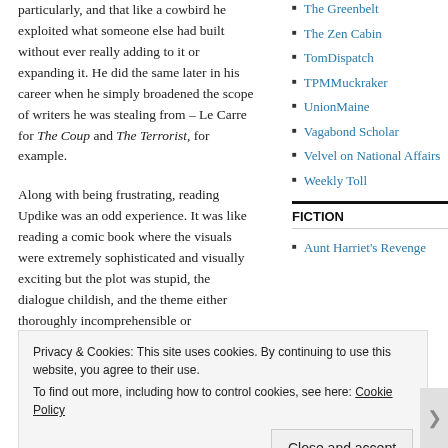particularly, and that like a cowbird he exploited what someone else had built without ever really adding to it or expanding it. He did the same later in his career when he simply broadened the scope of writers he was stealing from – Le Carre for The Coup and The Terrorist, for example.
Along with being frustrating, reading Updike was an odd experience. It was like reading a comic book where the visuals were extremely sophisticated and visually exciting but the plot was stupid, the dialogue childish, and the theme either thoroughly incomprehensible or
The Greenbelt
The Zen Cabin
TomDispatch
TPMMuckraker
UnionMaine
Vagabond Scholar
Velvel on National Affairs
Weekly Toll
FICTION
Aunt Harriet's Revenge
Privacy & Cookies: This site uses cookies. By continuing to use this website, you agree to their use.
To find out more, including how to control cookies, see here: Cookie Policy
Close and accept